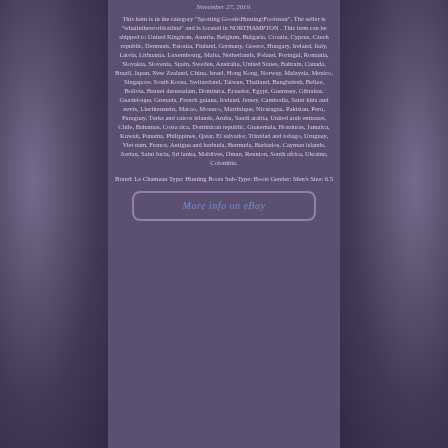November 27, 2019.
This item is in the category "Sporting Goods\Hunting\Footwear". The seller is "whatintheworldonline" and is located in NORTHAMPTON . This item can be shipped to United Kingdom, Austria, Belgium, Bulgaria, Croatia, Cyprus, Czech republic, Denmark, Estonia, Finland, Germany, Greece, Hungary, Ireland, Italy, Latvia, Lithuania, Luxembourg, Malta, Netherlands, Poland, Portugal, Romania, Slovakia, Slovenia, Spain, Sweden, Australia, United States, Bahrain, Canada, Brazil, Japan, New Zealand, China, Israel, Hong Kong, Norway, Malaysia, Mexico, Singapore, South Korea, Switzerland, Taiwan, Thailand, Bangladesh, Belize, Bolivia, Brunei darussalam, Dominica, Ecuador, Egypt, Guernsey, Gibraltar, Guadeloupe, Grenada, French guiana, Iceland, Jersey, Cambodia, Saint kitts and nevis, Liechtenstein, Macao, Monaco, Martinique, Nicaragua, Pakistan, Peru, Paraguay, Turks and caicos islands, Aruba, Saudi arabia, United arab emirates, Chile, Bahamas, Costa rica, Dominican republic, Guatemala, Honduras, Jamaica, Kuwait, Panama, Philippines, Qatar, El salvador, Trinidad and tobago, Uruguay, Viet nam, France, Antigua and barbuda, Bermuda, Barbados, Cayman islands, Jordan, Saint lucia, Sri lanka, Maldives, Oman, Reunion, South africa, Ukraine, Colombia.
Brand: Le Chameau Type: Hunting Boots Sub-Type: Boots Gender: Men's Size: 6.5
More info on eBay